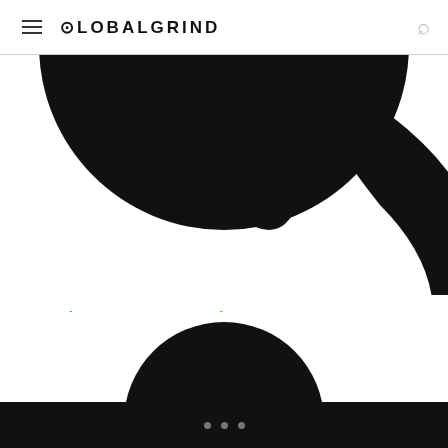GLOBALGRIND
[Figure (photo): Partial view of a large circular black graphic element on white background, cropped at top]
Swizz Beatz and a VERY Pregnant Alicia Keys Take A Break... (PHOTOS)
[Figure (photo): Partial view of a circular black graphic element, cropped at bottom of visible area]